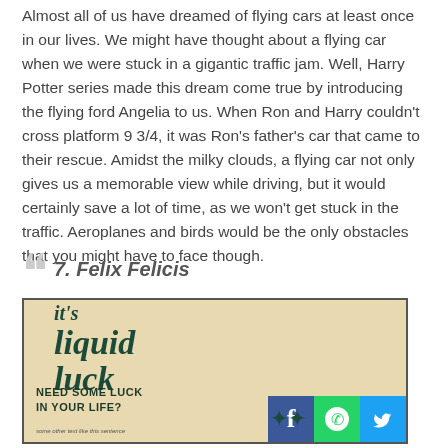Almost all of us have dreamed of flying cars at least once in our lives. We might have thought about a flying car when we were stuck in a gigantic traffic jam. Well, Harry Potter series made this dream come true by introducing the flying ford Angelia to us. When Ron and Harry couldn't cross platform 9 3/4, it was Ron's father's car that came to their rescue. Amidst the milky clouds, a flying car not only gives us a memorable view while driving, but it would certainly save a lot of time, as we won't get stuck in the traffic. Aeroplanes and birds would be the only obstacles that you might have to face though.
7. Felix Felicis
[Figure (illustration): An illustration showing decorative script text reading "it's liquid luck" on a vintage-style beige/tan background, with text at the bottom reading "NEED SOME LUCK IN YOUR LIFE?" and social media icons (Facebook, WhatsApp, Twitter) in the bottom right corner.]